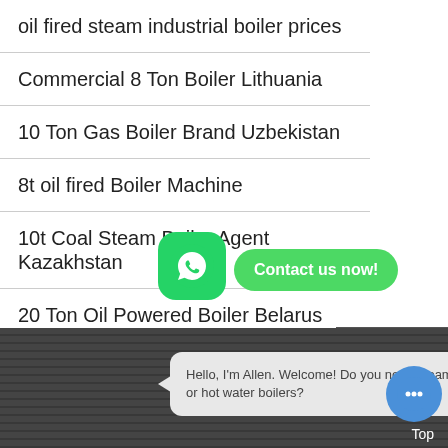oil fired steam industrial boiler prices
Commercial 8 Ton Boiler Lithuania
10 Ton Gas Boiler Brand Uzbekistan
8t oil fired Boiler Machine
10t Coal Steam Boiler Agent Kazakhstan
20 Ton Oil Powered Boiler Belarus
Commercial 6 Ton Coal Fired Boiler Price
Seller 1t Coal Boiler Uzbekistan
Chat
Email
Contact
Hello, I'm Allen. Welcome! Do you need steam or hot water boilers?
Contact us now!
Top